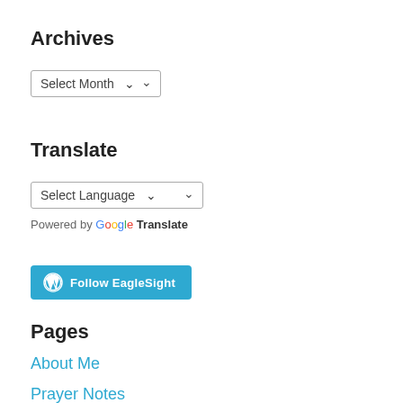Archives
Select Month
Translate
Select Language
Powered by Google Translate
[Figure (logo): WordPress Follow EagleSight button]
Pages
About Me
Prayer Notes